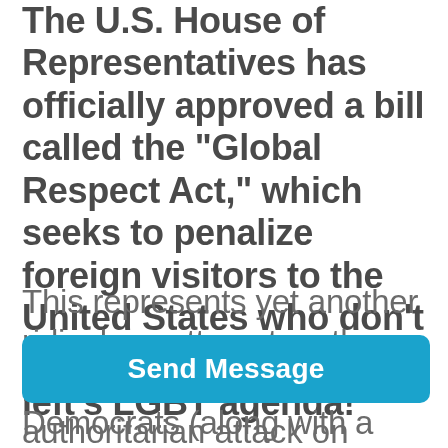The U.S. House of Representatives has officially approved a bill called the "Global Respect Act," which seeks to penalize foreign visitors to the United States who don't subscribe to the radical left's LGBT agenda!
This represents yet another ridiculous attempt on the part of congressional Democrats (along with a few Republicans) to prioritize virtue-
Send Message
authoritarian attack on traditional